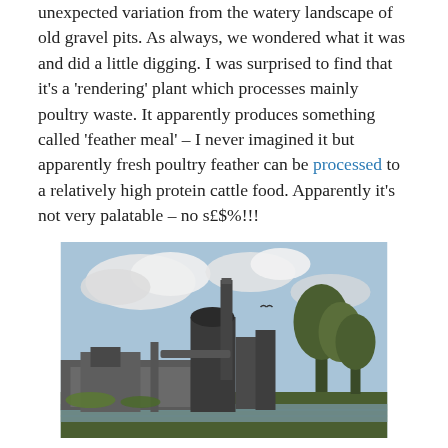unexpected variation from the watery landscape of old gravel pits. As always, we wondered what it was and did a little digging. I was surprised to find that it's a 'rendering' plant which processes mainly poultry waste. It apparently produces something called 'feather meal' – I never imagined it but apparently fresh poultry feather can be processed to a relatively high protein cattle food. Apparently it's not very palatable – no s£$%!!!
[Figure (photo): Industrial rendering plant with large cylindrical tower, chimneys, and various metal structures, set against a partly cloudy sky with trees visible to the right, and a canal or water feature in the foreground with green grass banks.]